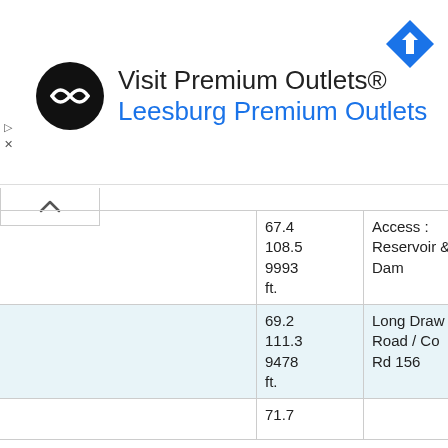[Figure (screenshot): Advertisement banner for Visit Premium Outlets - Leesburg Premium Outlets with black circular logo, navigation arrow icon]
|  | 67.4
108.5
9993 ft. | Access :
Reservoir &
Dam |
|  | 69.2
111.3
9478 ft. | Long Draw
Road / Co
Rd 156 |
|  | 71.7 |  |